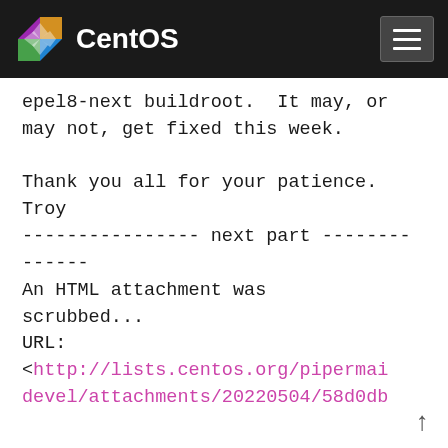CentOS
epel8-next buildroot.  It may, or may not, get fixed this week.

Thank you all for your patience.
Troy
---------------- next part ---------------

An HTML attachment was scrubbed...
URL:
<http://lists.centos.org/pipermaidevel/attachments/20220504/58d0db